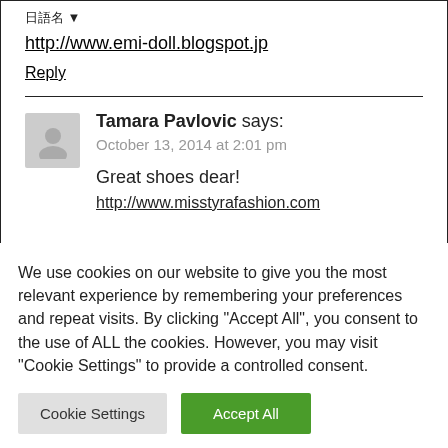日語名 ▼
http://www.emi-doll.blogspot.jp
Reply
Tamara Pavlovic says:
October 13, 2014 at 2:01 pm
Great shoes dear!
http://www.misstyrafashion.com
We use cookies on our website to give you the most relevant experience by remembering your preferences and repeat visits. By clicking "Accept All", you consent to the use of ALL the cookies. However, you may visit "Cookie Settings" to provide a controlled consent.